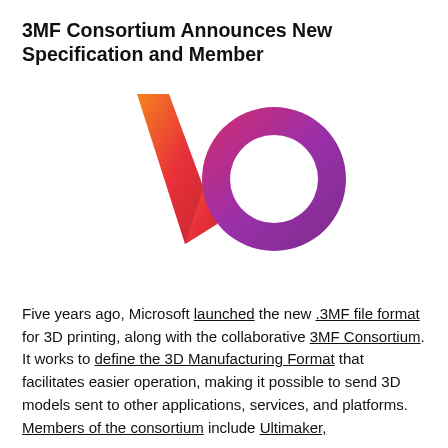3MF Consortium Announces New Specification and Member
[Figure (logo): Stylized 'vo' logo with gradient colors from orange to red for the 'v' shape and red to purple for the 'o' ring shape, on white background.]
Five years ago, Microsoft launched the new .3MF file format for 3D printing, along with the collaborative 3MF Consortium. It works to define the 3D Manufacturing Format that facilitates easier operation, making it possible to send 3D models sent to other applications, services, and platforms. Members of the consortium include Ultimaker,